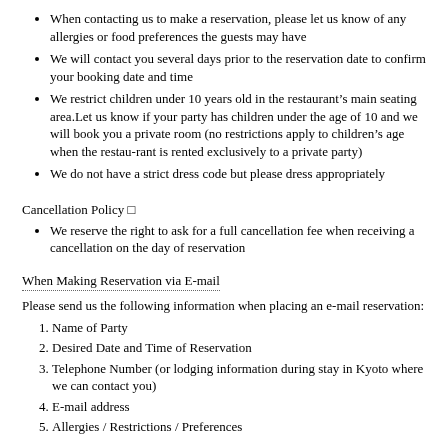When contacting us to make a reservation, please let us know of any allergies or food preferences the guests may have
We will contact you several days prior to the reservation date to confirm your booking date and time
We restrict children under 10 years old in the restaurant’s main seating area.Let us know if your party has children under the age of 10 and we will book you a private room (no restrictions apply to children’s age when the restau-rant is rented exclusively to a private party)
We do not have a strict dress code but please dress appropriately
Cancellation Policy □
We reserve the right to ask for a full cancellation fee when receiving a cancellation on the day of reservation
When Making Reservation via E-mail
Please send us the following information when placing an e-mail reservation:
Name of Party
Desired Date and Time of Reservation
Telephone Number (or lodging information during stay in Kyoto where we can contact you)
E-mail address
Allergies / Restrictions / Preferences